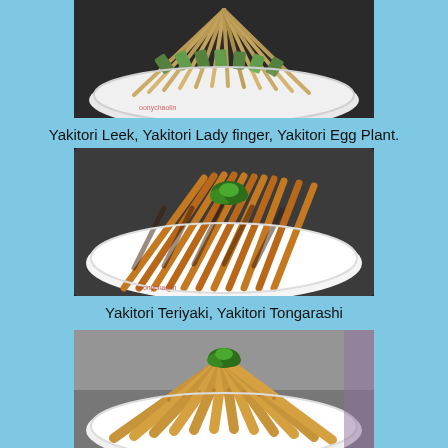[Figure (photo): Photo of yakitori skewers on a white plate — Yakitori Leek, Yakitori Lady finger, Yakitori Egg Plant with wooden skewers arranged in a fan pattern]
Yakitori Leek, Yakitori Lady finger, Yakitori Egg Plant.
[Figure (photo): Photo of Yakitori Teriyaki and Yakitori Tongarashi skewers — glazed brown meat skewers arranged on a white oval plate with parsley garnish]
Yakitori Teriyaki, Yakitori Tongarashi
[Figure (photo): Photo of breaded/fried items arranged in a fan pattern on a white plate with parsley garnish — likely fried chicken or shrimp skewers]